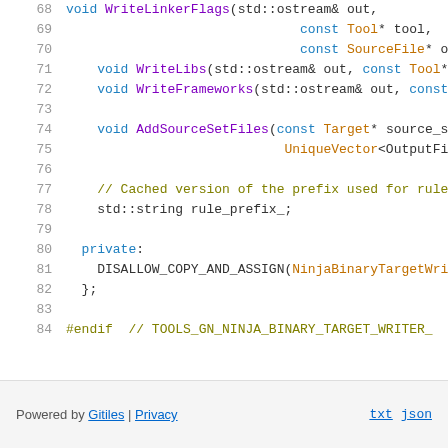[Figure (screenshot): Source code viewer showing lines 68-84 of a C++ header file for NinjaBinaryTargetWriter, with syntax highlighting. Lines include method declarations WriteLinkerFlags, WriteLibs, WriteFrameworks, AddSourceSetFiles, a comment about rule_prefix_, std::string rule_prefix_, private: section, DISALLOW_COPY_AND_ASSIGN macro, closing brace, and #endif preprocessor directive.]
Powered by Gitiles | Privacy   txt  json